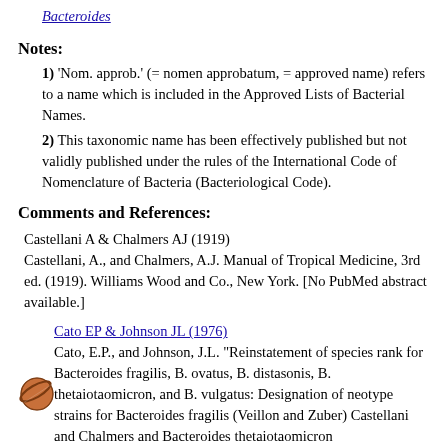Bacteroides
Notes:
1) 'Nom. approb.' (= nomen approbatum, = approved name) refers to a name which is included in the Approved Lists of Bacterial Names.
2) This taxonomic name has been effectively published but not validly published under the rules of the International Code of Nomenclature of Bacteria (Bacteriological Code).
Comments and References:
Castellani A & Chalmers AJ (1919)
Castellani, A., and Chalmers, A.J. Manual of Tropical Medicine, 3rd ed. (1919). Williams Wood and Co., New York. [No PubMed abstract available.]
Cato EP & Johnson JL (1976)
Cato, E.P., and Johnson, J.L. "Reinstatement of species rank for Bacteroides fragilis, B. ovatus, B. distasonis, B. thetaiotaomicron, and B. vulgatus: Designation of neotype strains for Bacteroides fragilis (Veillon and Zuber) Castellani and Chalmers and Bacteroides thetaiotaomicron